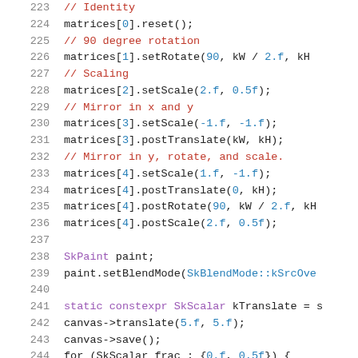Code listing lines 223-244: C++ source code with matrix transformations and paint setup
223  // Identity
224  matrices[0].reset();
225  // 90 degree rotation
226  matrices[1].setRotate(90, kW / 2.f, kH
227  // Scaling
228  matrices[2].setScale(2.f, 0.5f);
229  // Mirror in x and y
230  matrices[3].setScale(-1.f, -1.f);
231  matrices[3].postTranslate(kW, kH);
232  // Mirror in y, rotate, and scale.
233  matrices[4].setScale(1.f, -1.f);
234  matrices[4].postTranslate(0, kH);
235  matrices[4].postRotate(90, kW / 2.f, kH
236  matrices[4].postScale(2.f, 0.5f);
237
238  SkPaint paint;
239  paint.setBlendMode(SkBlendMode::kSrcOve
240
241  static constexpr SkScalar kTranslate = s
242  canvas->translate(5.f, 5.f);
243  canvas->save();
244  for (SkScalar frac : {0.f, 0.5f}) {